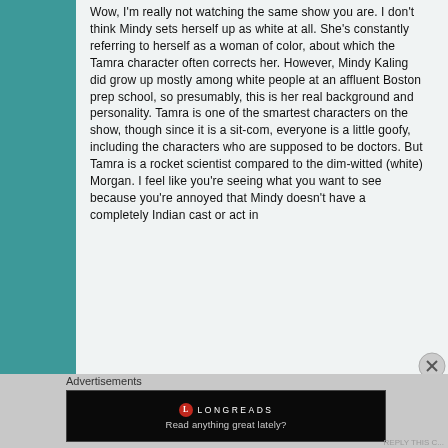Wow, I'm really not watching the same show you are. I don't think Mindy sets herself up as white at all. She's constantly referring to herself as a woman of color, about which the Tamra character often corrects her. However, Mindy Kaling did grow up mostly among white people at an affluent Boston prep school, so presumably, this is her real background and personality. Tamra is one of the smartest characters on the show, though since it is a sit-com, everyone is a little goofy, including the characters who are supposed to be doctors. But Tamra is a rocket scientist compared to the dim-witted (white) Morgan. I feel like you're seeing what you want to see because you're annoyed that Mindy doesn't have a completely Indian cast or act in
Advertisements
[Figure (screenshot): Longreads advertisement banner: black background with Longreads logo (red circle with white L) and text 'Read anything great lately?']